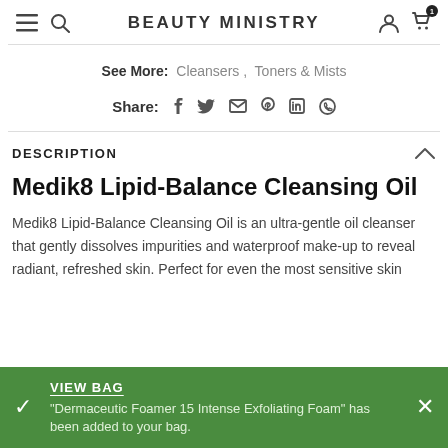BEAUTY MINISTRY
See More: Cleansers, Toners & Mists
Share: (social icons)
DESCRIPTION
Medik8 Lipid-Balance Cleansing Oil
Medik8 Lipid-Balance Cleansing Oil is an ultra-gentle oil cleanser that gently dissolves impurities and waterproof make-up to reveal radiant, refreshed skin. Perfect for even the most sensitive skin
VIEW BAG
"Dermaceutic Foamer 15 Intense Exfoliating Foam" has been added to your bag.